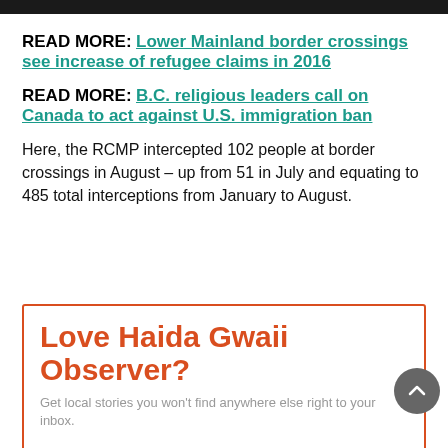[Figure (other): Dark top bar / header image strip]
READ MORE: Lower Mainland border crossings see increase of refugee claims in 2016
READ MORE: B.C. religious leaders call on Canada to act against U.S. immigration ban
Here, the RCMP intercepted 102 people at border crossings in August – up from 51 in July and equating to 485 total interceptions from January to August.
Love Haida Gwaii Observer?
Get local stories you won't find anywhere else right to your inbox.
Email
Required